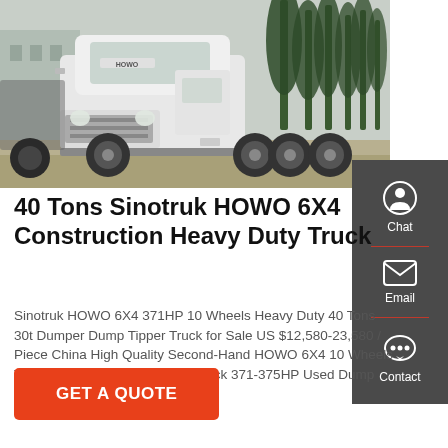[Figure (photo): White Sinotruk HOWO 6X4 heavy duty truck parked outdoors with trees in background]
40 Tons Sinotruk HOWO 6X4 Construction Heavy Duty Truck
Sinotruk HOWO 6X4 371HP 10 Wheels Heavy Duty 40 Tons 30t Dumper Dump Tipper Truck for Sale US $12,580-23,580 / Piece China High Quality Second-Hand HOWO 6X4 10 Wheels Tipper Tipping Dump Dumper Truck 371-375HP Used Dump Truck
GET A QUOTE